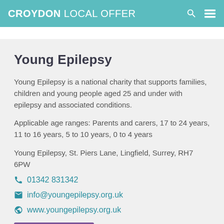CROYDON LOCAL OFFER
Young Epilepsy
Young Epilepsy is a national charity that supports families, children and young people aged 25 and under with epilepsy and associated conditions.
Applicable age ranges: Parents and carers, 17 to 24 years, 11 to 16 years, 5 to 10 years, 0 to 4 years
Young Epilepsy, St. Piers Lane, Lingfield, Surrey, RH7 6PW
01342 831342
info@youngepilepsy.org.uk
www.youngepilepsy.org.uk
Add to Shortlist